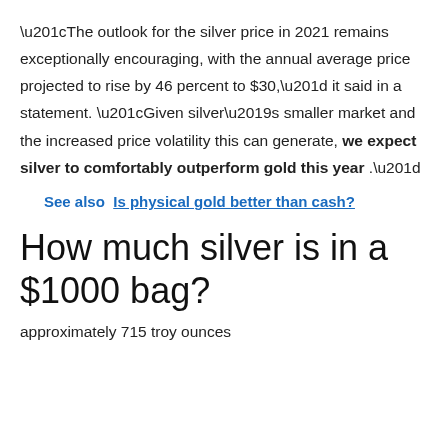“The outlook for the silver price in 2021 remains exceptionally encouraging, with the annual average price projected to rise by 46 percent to $30,” it said in a statement. “Given silver’s smaller market and the increased price volatility this can generate, we expect silver to comfortably outperform gold this year .”
See also  Is physical gold better than cash?
How much silver is in a $1000 bag?
approximately 715 troy ounces